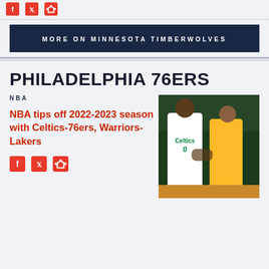Social share icons (Facebook, Twitter, Share)
MORE ON MINNESOTA TIMBERWOLVES
PHILADELPHIA 76ERS
NBA
NBA tips off 2022-2023 season with Celtics-76ers, Warriors-Lakers
[Figure (photo): Basketball players - Celtics player in white jersey and Warriors player in yellow/blue jersey competing on court]
Social share icons (Facebook, Twitter, Share)